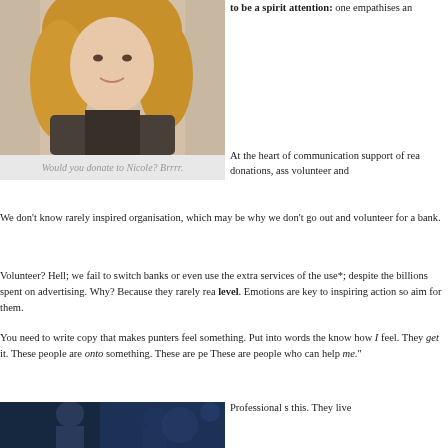[Figure (photo): Portrait photo of a blonde woman (Nicole) in a dark jacket, smiling]
Would you donate to Nicole? Brrrr.
to be a spirit attention: one empathises an
At the heart of communication support of rea donations, ass volunteer and
We don't know rarely inspired organisation, which may be why we don't go out and volunteer for a bank.
Volunteer? Hell; we fail to switch banks or even use the extra services of the use*; despite the billions spent on advertising. Why? Because they rarely rea level. Emotions are key to inspiring action so aim for them.
You need to write copy that makes punters feel something. Put into words the know how I feel. They get it. These people are onto something. These are pe These are people who can help me."
[Figure (photo): Dark blue-toned photo of a person (possibly a footballer or sports figure)]
Professional s this. They live